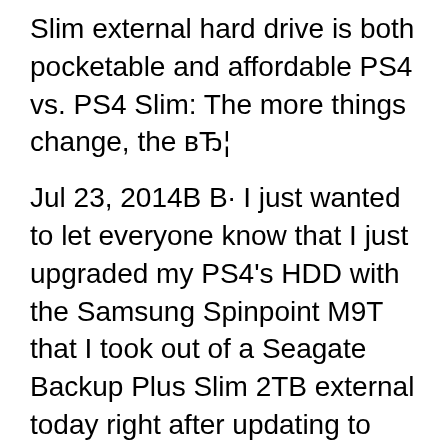Slim external hard drive is both pocketable and affordable PS4 vs. PS4 Slim: The more things change, the вЂ¦
Jul 23, 2014В В· I just wanted to let everyone know that I just upgraded my PS4's HDD with the Samsung Spinpoint M9T that I took out of a Seagate Backup Plus Slim 2TB external today right after updating to 1.74 and it works perfectly. My ps4's stock 500gb HDD was the HGST model. So for those worried it would only work with stock Samsung ps4's, it isn't the case. Aug 14, 2015В В· Seagate Review: Hands-On With the 4TB Backup Plus Portable Hard Drive With Lyve Integration Friday November 16, 2018 6:03 PM PST by Juli Clover